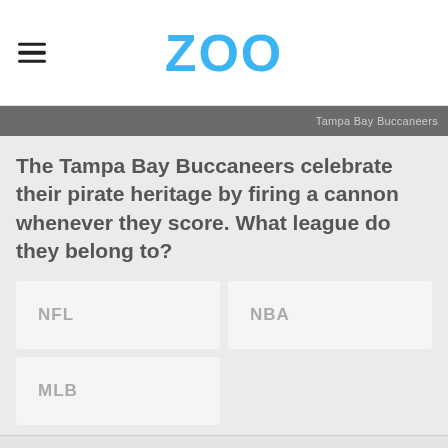ZOO
Tampa Bay Buccaneers
The Tampa Bay Buccaneers celebrate their pirate heritage by firing a cannon whenever they score. What league do they belong to?
NFL
NBA
MLB
Advertisement